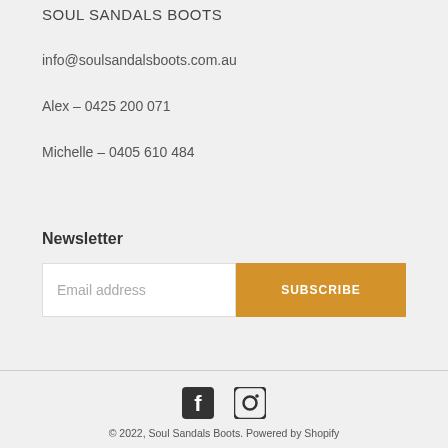SOUL SANDALS BOOTS
info@soulsandalsboots.com.au
Alex – 0425 200 071
Michelle – 0405 610 484
Newsletter
Email address [input] SUBSCRIBE [button]
[Figure (illustration): Facebook and Instagram social media icons side by side]
© 2022, Soul Sandals Boots. Powered by Shopify